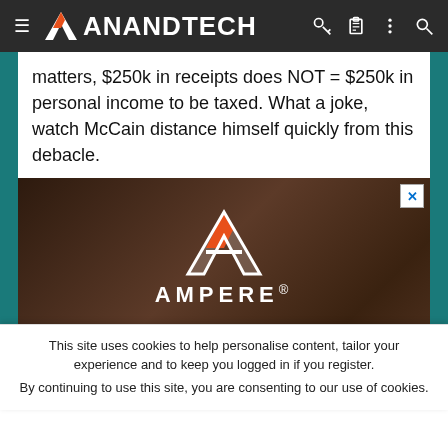AnandTech navigation bar with hamburger menu, logo, and icons
matters, $250k in receipts does NOT = $250k in personal income to be taxed. What a joke, watch McCain distance himself quickly from this debacle.
[Figure (advertisement): Ampere advertisement with logo (red A triangle) and text 'AMPERE. Hear Why Major Cloud Providers are Deploying Ampere' on dark wood-textured background]
This site uses cookies to help personalise content, tailor your experience and to keep you logged in if you register.
By continuing to use this site, you are consenting to our use of cookies.